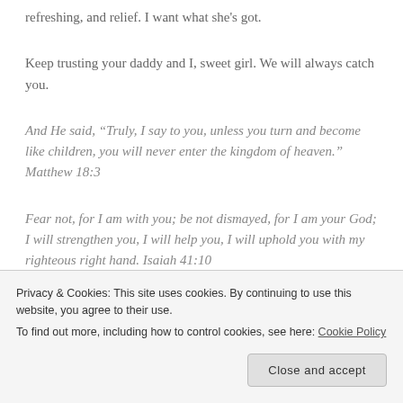refreshing, and relief. I want what she's got.
Keep trusting your daddy and I, sweet girl. We will always catch you.
And He said, “Truly, I say to you, unless you turn and become like children, you will never enter the kingdom of heaven.” Matthew 18:3
Fear not, for I am with you; be not dismayed, for I am your God; I will strengthen you, I will help you, I will uphold you with my righteous right hand. Isaiah 41:10
Privacy & Cookies: This site uses cookies. By continuing to use this website, you agree to their use.
To find out more, including how to control cookies, see here: Cookie Policy
Close and accept